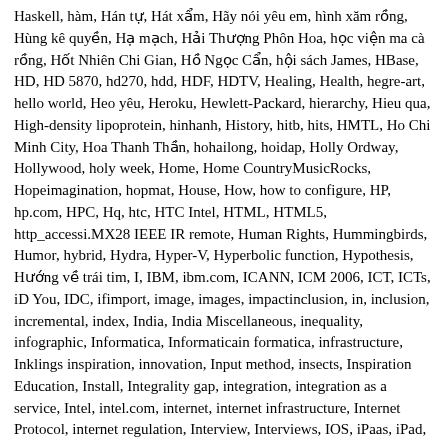Haskell, hàm, Hán tự, Hát xẩm, Hãy nói yêu em, hình xăm rồng, Hùng kê quyền, Hạ mạch, Hải Thượng Phôn Hoa, học viện ma cà rồng, Hốt Nhiên Chi Gian, Hồ Ngọc Cẩn, hội sách James, HBase, HD, HD 5870, hd270, hdd, HDF, HDTV, Healing, Health, hegre-art, hello world, Heo yêu, Heroku, Hewlett-Packard, hierarchy, Hieu qua, High-density lipoprotein, hinhanh, History, hitb, hits, HMTL, Ho Chi Minh City, Hoa Thanh Thần, hohailong, hoidap, Holly Ordway, Hollywood, holy week, Home, Home CountryMusicRocks, Hopeimagination, hopmat, House, How, how to configure, HP, hp.com, HPC, Hq, htc, HTC Intel, HTML, HTML5, http_accessi.MX28 IEEE IR remote, Human Rights, Hummingbirds, Humor, hybrid, Hydra, Hyper-V, Hyperbolic function, Hypothesis, Hướng về trái tim, I, IBM, ibm.com, ICANN, ICM 2006, ICT, ICTs, iD You, IDC, ifimport, image, images, impactinclusion, in, inclusion, incremental, index, India, India Miscellaneous, inequality, infographic, Informatica, Informaticain formatica, infrastructure, Inklings inspiration, innovation, Input method, insects, Inspiration Education, Install, Integrality gap, integration, integration as a service, Intel, intel.com, internet, internet infrastructure, Internet Protocol, internet regulation, Interview, Interviews, IOS, iPaas, iPad, iPad 2, iPad2, iPhone, iphone 3gs, iphone 4, iPhone 5, IPod, ISO, Isomorphism, Israel, ITRs, ITUITU-T ITU, Jack Russell Terrier, Jackson phim chuyến